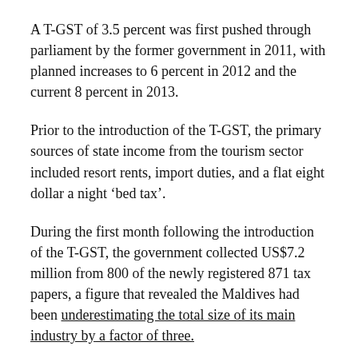A T-GST of 3.5 percent was first pushed through parliament by the former government in 2011, with planned increases to 6 percent in 2012 and the current 8 percent in 2013.
Prior to the introduction of the T-GST, the primary sources of state income from the tourism sector included resort rents, import duties, and a flat eight dollar a night ‘bed tax’.
During the first month following the introduction of the T-GST, the government collected US$7.2 million from 800 of the newly registered 871 tax papers, a figure that revealed the Maldives had been underestimating the total size of its main industry by a factor of three.
Economic crisis